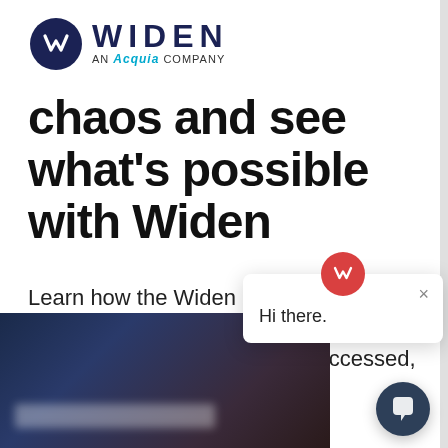[Figure (logo): Widen logo — navy circle with W chevron mark, WIDEN text in large bold navy caps, AN ACQUIA COMPANY subtitle in smaller text]
chaos and see what's possible with Widen
Learn how the Widen Collective® can simplify how brand, marketing, and product content is organized, accessed, and delivered to market
[Figure (screenshot): Blurred dark blue/red background image with white blurred text overlay — appears to be a product screenshot]
[Figure (screenshot): Chat popup widget showing Widen red logo icon and 'Hi there.' greeting text with close X button]
[Figure (illustration): Dark navy chat bubble button in bottom right corner]